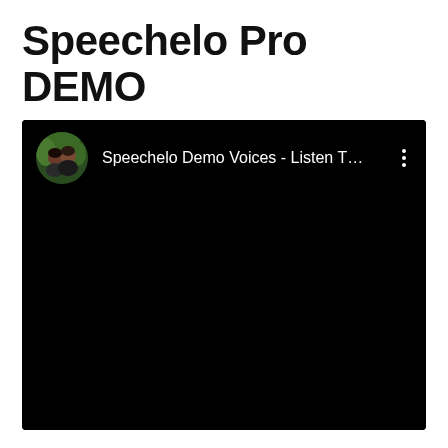Speechelo Pro DEMO
[Figure (screenshot): A YouTube video embed or thumbnail showing a black video player. The video header shows a circular avatar with two people, followed by the text 'Speechelo Demo Voices - Listen T...' and a three-dot menu icon on the right. The rest of the video area is entirely black.]